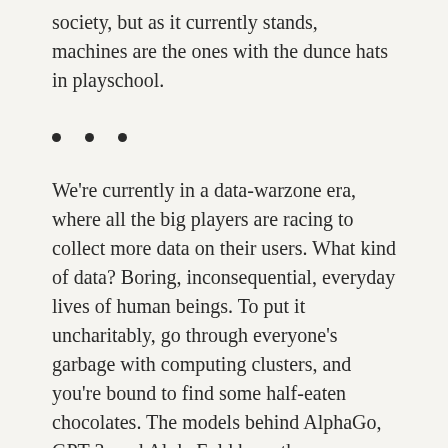society, but as it currently stands, machines are the ones with the dunce hats in playschool.
• • •
We're currently in a data-warzone era, where all the big players are racing to collect more data on their users. What kind of data? Boring, inconsequential, everyday lives of human beings. To put it uncharitably, go through everyone's garbage with computing clusters, and you're bound to find some half-eaten chocolates. The models behind AlphaGo, GPT-3, and AlphaFold have the same essential nature as the ones used to keep us endlessly hooked onto social platforms, and to sell us unwanted products via sweet-talking voice-assistants. A lot of industrial AI research is enormously expensive, but the dirty secret is that it is paid